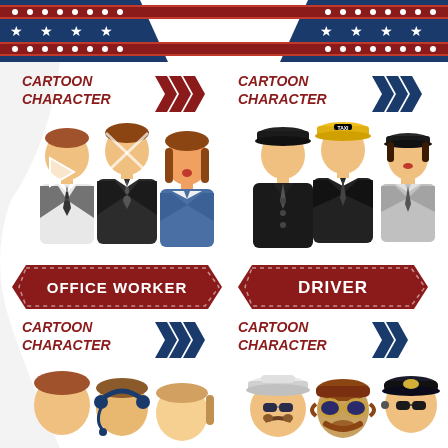[Figure (infographic): Top decorative banner with dark blue background, red dotted border strips, and a white V-shaped cutout in center]
CARTOON CHARACTER
CARTOON CHARACTER
[Figure (illustration): Three office worker cartoon characters: male in suit, male in suit, female in blue blazer]
[Figure (illustration): Three driver cartoon characters: chauffeur in black cap, taxi driver in yellow cap, female driver in grey uniform]
[Figure (infographic): Red ribbon banner with text OFFICE WORKER]
[Figure (infographic): Red ribbon banner with text DRIVER]
CARTOON CHARACTER
CARTOON CHARACTER
[Figure (illustration): Three cartoon character heads: male with brown hair, person with headset, female]
[Figure (illustration): Three cartoon character heads: captain with white hat and mustache, person with goggles, pilot in dark uniform]